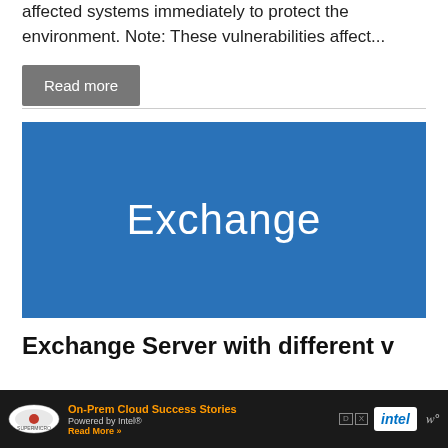affected systems immediately to protect the environment. Note: These vulnerabilities affect...
Read more
[Figure (illustration): Blue square banner image with white text reading 'Exchange' — Microsoft Exchange product branding image]
Exchange Server with different v
[Figure (infographic): Advertisement bar: Supermicro logo, 'On-Prem Cloud Success Stories Powered by Intel® Read More >>' text, Intel logo, PX badge, and W° icon on dark background]